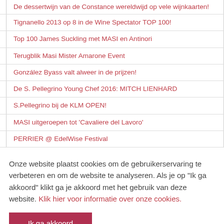De dessertwijn van de Constance wereldwijd op vele wijnkaarten!
Tignanello 2013 op 8 in de Wine Spectator TOP 100!
Top 100 James Suckling met MASI en Antinori
Terugblik Masi Mister Amarone Event
González Byass valt alweer in de prijzen!
De S. Pellegrino Young Chef 2016: MITCH LIENHARD
S.Pellegrino bij de KLM OPEN!
MASI uitgeroepen tot 'Cavaliere del Lavoro'
PERRIER @ EdelWise Festival
Onze website plaatst cookies om de gebruikerservaring te verbeteren en om de website te analyseren. Als je op "Ik ga akkoord" klikt ga je akkoord met het gebruik van deze website. Klik hier voor informatie over onze cookies.
Ik ga akkoord